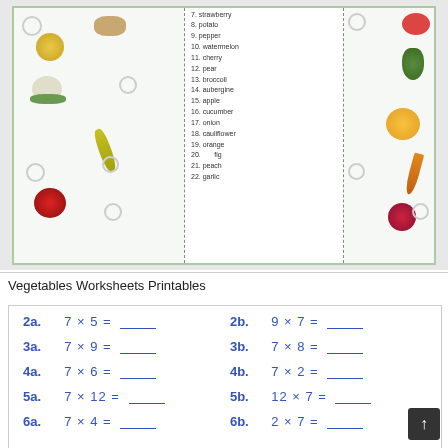[Figure (illustration): A vegetables and fruits worksheet printable showing colorful illustrations of various produce (onion, potato, cauliflower, corn, apple, watermelon, pear, peach, carrot, pomegranate, banana, etc.) on left and right sides, with a center list numbered 7-22 including: strawberry, potato, pepper, watermelon, cherry, pear, broccoli, aubergine, apple, cucumber, onion, cauliflower, orange, fig, peach, garlic]
Vegetables Worksheets Printables
[Figure (illustration): A multiplication worksheet showing problems: 2a. 7 x 5 = ___, 2b. 9 x 7 = ___, 3a. 7 x 9 = ___, 3b. 7 x 8 = ___, 4a. 7 x 6 = ___, 4b. 7 x 2 = ___, 5a. 7 x 12 = ___, 5b. 12 x 7 = ___, 6a. 7 x 4 = ___, 6b. 2 x 7 = ___]